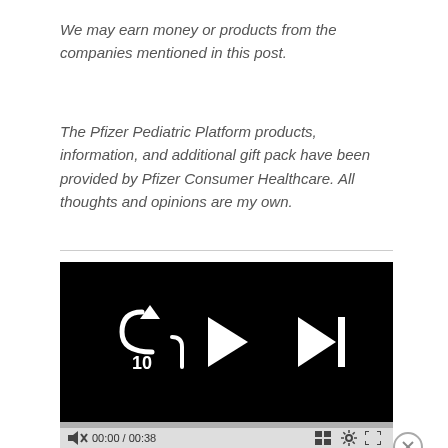We may earn money or products from the companies mentioned in this post.
The Pfizer Pediatric Platform products, information, and additional gift pack have been provided by Pfizer Consumer Healthcare. All thoughts and opinions are my own.
[Figure (screenshot): Video player showing black screen with playback controls: rewind 10 seconds button, play button, and skip-to-next button. Below is a control bar showing mute icon, time 00:00 / 00:38, grid/chapters icon, settings icon, and fullscreen icon.]